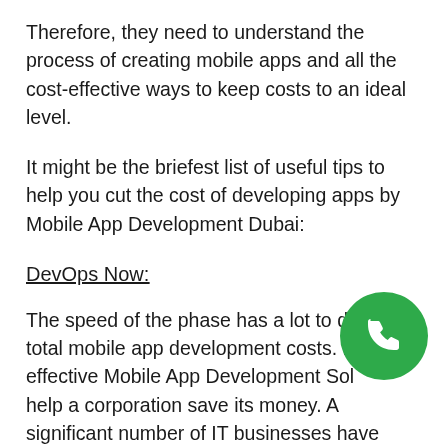Therefore, they need to understand the process of creating mobile apps and all the cost-effective ways to keep costs to an ideal level.
It might be the briefest list of useful tips to help you cut the cost of developing apps by Mobile App Development Dubai:
DevOps Now:
The speed of the phase has a lot to do with total mobile app development costs. Highly effective Mobile App Development Solutions help a corporation save its money. A significant number of IT businesses have entered the movement with the new approach called